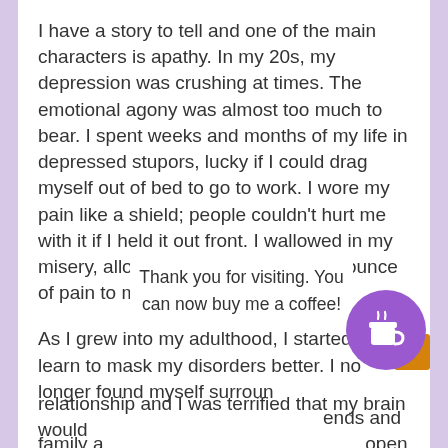I have a story to tell and one of the main characters is apathy. In my 20s, my depression was crushing at times. The emotional agony was almost too much to bear. I spent weeks and months of my life in depressed stupors, lucky if I could drag myself out of bed to go to work. I wore my pain like a shield; people couldn't hurt me with it if I held it out front. I wallowed in my misery, allowing myself to feel every ounce of pain to my psyche.
As I grew into my adulthood, I started to learn to mask my disorders better. I no longer found myself surroun                                        ends and family a    Thank you for visiting. You    open about w    can now buy me a coffee!    ma years, I s                                           new relationship and I was terrified that my brain would